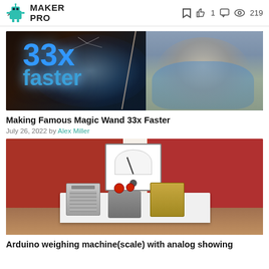MAKER PRO | bookmark icon, like 1, comment, views 219
[Figure (photo): Article thumbnail showing '33x faster' text with glowing orb effect and a cat on the right side]
Making Famous Magic Wand 33x Faster
July 26, 2022 by Alex Miller
[Figure (photo): Photo of electronics components (batteries, connectors) on a white table against a red background with an analog meter on the wall]
Arduino weighing machine(scale) with analog showing